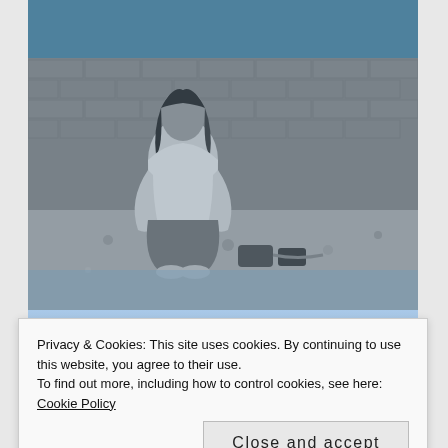[Figure (photo): A young person with dark hair sitting against a brick wall outdoors, hugging their knees, with shoes and a bag nearby on gravelly ground. The image has a blue-tinted color overlay at the top and bottom. Below the photo is a blue gradient band with the beginning of text 'ALEXIS ROSE' in bold blue italic letters.]
Privacy & Cookies: This site uses cookies. By continuing to use this website, you agree to their use.
To find out more, including how to control cookies, see here: Cookie Policy
Close and accept